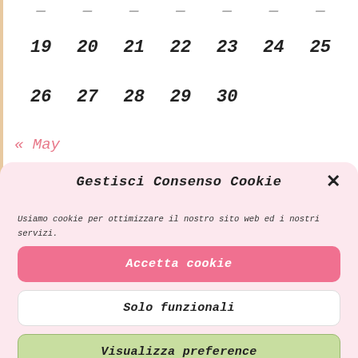| 19 | 20 | 21 | 22 | 23 | 24 | 25 |
| 26 | 27 | 28 | 29 | 30 |  |  |
« May
Gestisci Consenso Cookie
Usiamo cookie per ottimizzare il nostro sito web ed i nostri servizi.
Accetta cookie
Solo funzionali
Visualizza preference